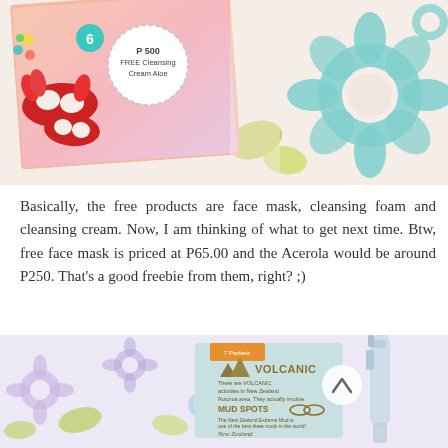[Figure (photo): Photo of a colorful promotional card/leaflet with carnival mask graphics, a circular badge reading 'P 500 FREE Cleansing Cream Aloe', number 6 in a teal circle, against a floral patterned background with blue and green flowers]
Basically, the free products are face mask, cleansing foam and cleansing cream. Now, I am thinking of what to get next time. Btw, free face mask is priced at P65.00 and the Acerola would be around P250. That's a good freebie from them, right? ;)
[Figure (photo): Photo of a product card labeled 'VOLCANIC' with text about New Zealand volcanic activities and mud spots, next to a spray bottle, on a floral purple/lavender patterned background]